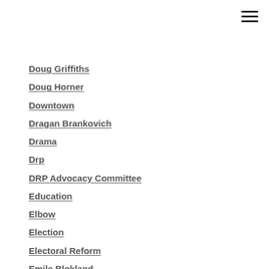Doug Griffiths
Doug Horner
Downtown
Dragan Brankovich
Drama
Drp
DRP Advocacy Committee
Education
Elbow
Election
Electoral Reform
Emile Blokland
Energy
Environment
Esrd
Evan Berger
Exshaw